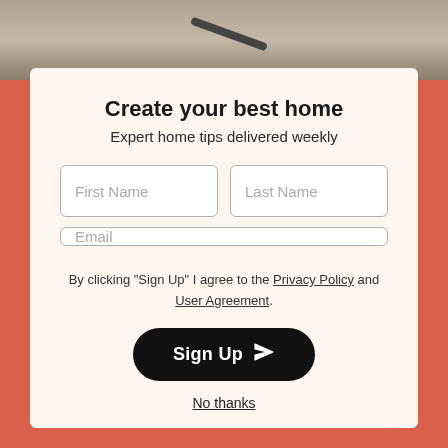[Figure (photo): Partial photo of a wood surface with what appears to be a dark stick or rod object, visible at the top of the page behind the card]
Create your best home
Expert home tips delivered weekly
First Name
Last Name
Email
By clicking "Sign Up" I agree to the Privacy Policy and User Agreement.
Sign Up
No thanks